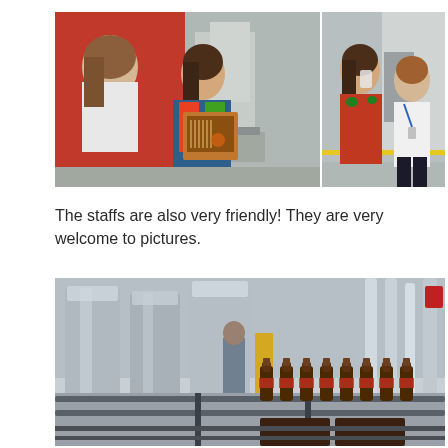[Figure (photo): Two side-by-side photos. Left: Two women outdoors near a red wall, one holding a framed award or display. Right: Same women, one drinking from a cup, standing outside a building.]
The staffs are also very friendly! They are very welcome to pictures.
[Figure (photo): A brewery production line with large silver tanks in the background and brown beer bottles moving along a conveyor belt in the foreground. A worker visible at left.]